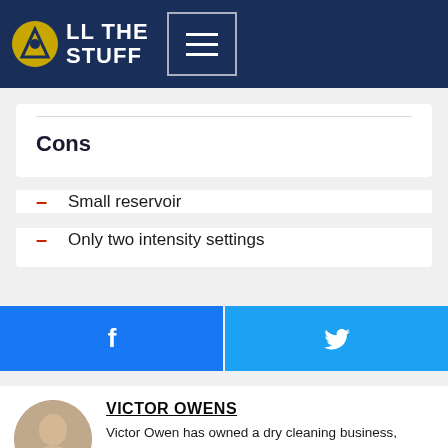ALL THE STUFF
Cons
Small reservoir
Only two intensity settings
[Figure (infographic): Facebook share button (blue) and Twitter share button (light blue) side by side]
VICTOR OWENS
Victor Owen has owned a dry cleaning business, traded in zebra skins, worked as an electrical engineer, chef and earthworm farmer, has